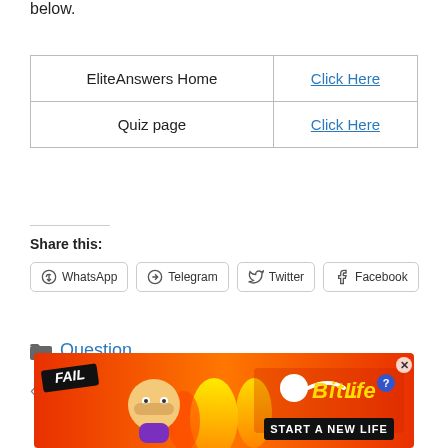below.
|  |  |
| --- | --- |
| EliteAnswers Home | Click Here |
| Quiz page | Click Here |
Share this:
WhatsApp  Telegram  Twitter  Facebook
Question
Which of these countries is considered
[Figure (photo): Advertisement banner for BitLife game showing fail badge, animated character, BitLife logo and START A NEW LIFE text]